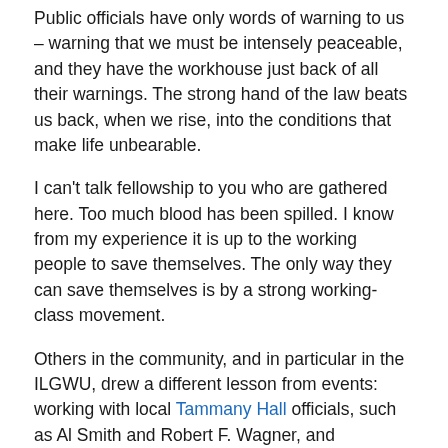Public officials have only words of warning to us – warning that we must be intensely peaceable, and they have the workhouse just back of all their warnings. The strong hand of the law beats us back, when we rise, into the conditions that make life unbearable.
I can't talk fellowship to you who are gathered here. Too much blood has been spilled. I know from my experience it is up to the working people to save themselves. The only way they can save themselves is by a strong working-class movement.
Others in the community, and in particular in the ILGWU, drew a different lesson from events: working with local Tammany Hall officials, such as Al Smith and Robert F. Wagner, and progressive reformers, such as Frances Perkins, the future secretary of labor in the Roosevelt administration, who had witnessed the fire from the street below, they pushed for comprehensive safety and workers'